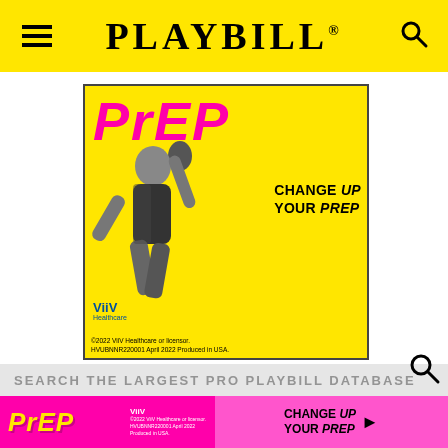PLAYBILL
[Figure (illustration): Advertisement for ViiV Healthcare PrEP campaign on yellow background. Large magenta/pink italic 'PrEP' logo at top left. Black and white photo of a person dancing/jumping. Text 'CHANGE UP YOUR PrEP' in bold black. ViiV Healthcare logo at bottom left. Disclaimer: ©2022 ViiV Healthcare or licensor. HVUBNNR220001 April 2022 Produced in USA.]
SEARCH THE LARGEST PRO PLAYBILL DATABASE
[Figure (illustration): Bottom banner ad in magenta/pink. PrEP logo in yellow on left. ViiV logo and disclaimer text. Right side shows 'CHANGE UP YOUR PrEP' with arrow in darker pink box.]